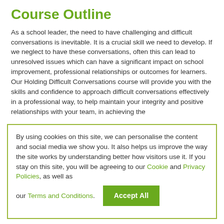Course Outline
As a school leader, the need to have challenging and difficult conversations is inevitable. It is a crucial skill we need to develop. If we neglect to have these conversations, often this can lead to unresolved issues which can have a significant impact on school improvement, professional relationships or outcomes for learners. Our Holding Difficult Conversations course will provide you with the skills and confidence to approach difficult conversations effectively in a professional way, to help maintain your integrity and positive relationships with your team, in achieving the
By using cookies on this site, we can personalise the content and social media we show you. It also helps us improve the way the site works by understanding better how visitors use it. If you stay on this site, you will be agreeing to our Cookie and Privacy Policies, as well as our Terms and Conditions. Accept All